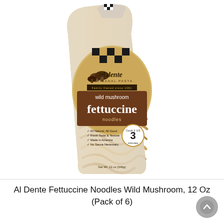[Figure (photo): Product photo of Al Dente Artisanal Pasta Wild Mushroom Fettuccine Noodles in a clear plastic bag with a checkered black and tan label, showing the brand logo with mushroom illustration, product name in large white text on brown background, cooking time badge showing 3 minutes, and bullet points listing product features.]
Al Dente Fettuccine Noodles Wild Mushroom, 12 Oz (Pack of 6)
$ 35.93